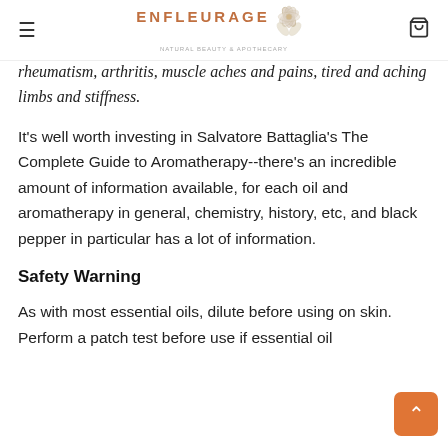ENFLEURAGE
rheumatism, arthritis, muscle aches and pains, tired and aching limbs and stiffness.
It's well worth investing in Salvatore Battaglia's The Complete Guide to Aromatherapy--there's an incredible amount of information available, for each oil and aromatherapy in general, chemistry, history, etc, and black pepper in particular has a lot of information.
Safety Warning
As with most essential oils, dilute before using on skin. Perform a patch test before use if essential oil